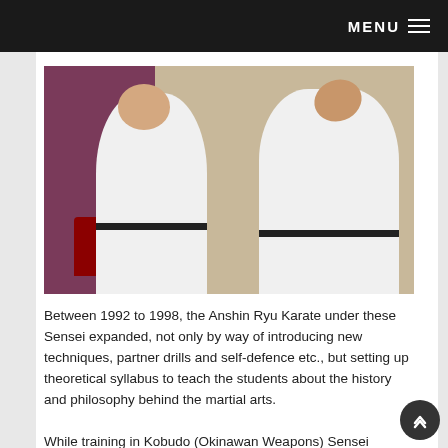MENU
[Figure (photo): Two karate practitioners in white gi and black belts demonstrating a technique, one striking toward the other's face/chin. Red chairs visible in background, purple and tan walls.]
Between 1992 to 1998, the Anshin Ryu Karate under these Sensei expanded, not only by way of introducing new techniques, partner drills and self-defence etc., but setting up theoretical syllabus to teach the students about the history and philosophy behind the martial arts.
While training in Kobudo (Okinawan Weapons) Sensei